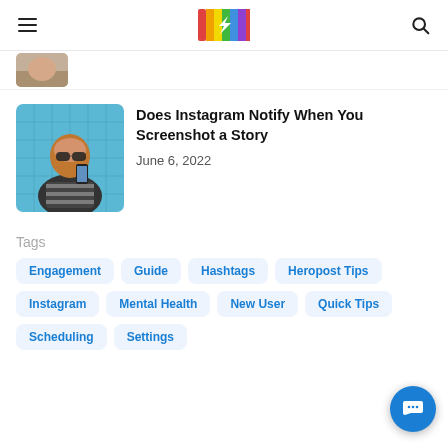Navigation header with hamburger menu, logo, and search icon
[Figure (photo): Partial view of an article thumbnail image showing a person outdoors]
[Figure (photo): Thumbnail of a woman with red hair lying down wearing sunglasses, holding a phone, with a blue tiled background]
Does Instagram Notify When You Screenshot a Story
June 6, 2022
Tags
Engagement
Guide
Hashtags
Heropost Tips
Instagram
Mental Health
New User
Quick Tips
Scheduling
Settings